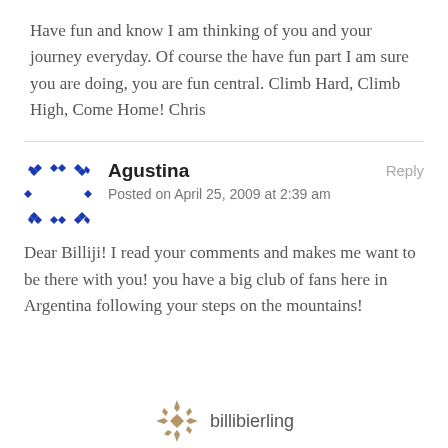Have fun and know I am thinking of you and your journey everyday. Of course the have fun part I am sure you are doing, you are fun central. Climb Hard, Climb High, Come Home! Chris
Agustina
Posted on April 25, 2009 at 2:39 am
Reply
Dear Billiji! I read your comments and makes me want to be there with you! you have a big club of fans here in Argentina following your steps on the mountains!
billibierling